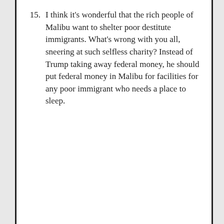15. I think it's wonderful that the rich people of Malibu want to shelter poor destitute immigrants. What's wrong with you all, sneering at such selfless charity? Instead of Trump taking away federal money, he should put federal money in Malibu for facilities for any poor immigrant who needs a place to sleep.